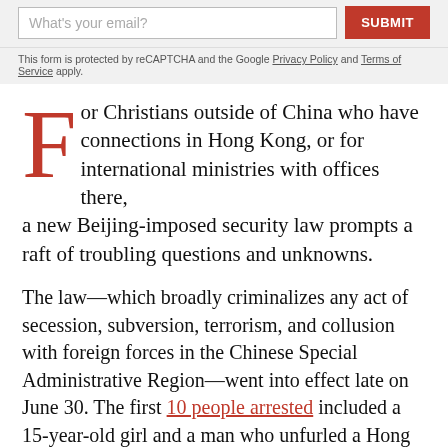[Figure (screenshot): Email subscription form with text input placeholder 'What's your email?' and a red SUBMIT button]
This form is protected by reCAPTCHA and the Google Privacy Policy and Terms of Service apply.
For Christians outside of China who have connections in Hong Kong, or for international ministries with offices there, a new Beijing-imposed security law prompts a raft of troubling questions and unknowns.
The law—which broadly criminalizes any act of secession, subversion, terrorism, and collusion with foreign forces in the Chinese Special Administrative Region—went into effect late on June 30. The first 10 people arrested included a 15-year-old girl and a man who unfurled a Hong Kong independence flag during a demonstration. An additional 360 protesters were also detained in the first 24 hours.